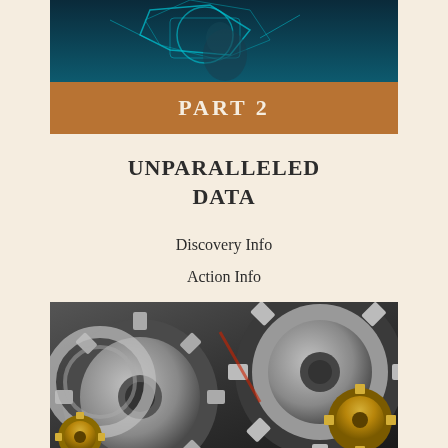[Figure (photo): Blue glowing digital/technological abstract image with geometric shapes at top]
PART 2
UNPARALLELED DATA
Discovery Info
Action Info
Tactical Info
[Figure (photo): Close-up photo of interlocking metal industrial gears, silver and gold colored]